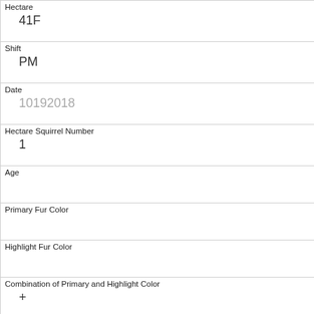| Hectare | 41F |
| Shift | PM |
| Date | 10192018 |
| Hectare Squirrel Number | 1 |
| Age |  |
| Primary Fur Color |  |
| Highlight Fur Color |  |
| Combination of Primary and Highlight Color | + |
| Color notes |  |
| Location |  |
| Above Ground Sighter Measurement |  |